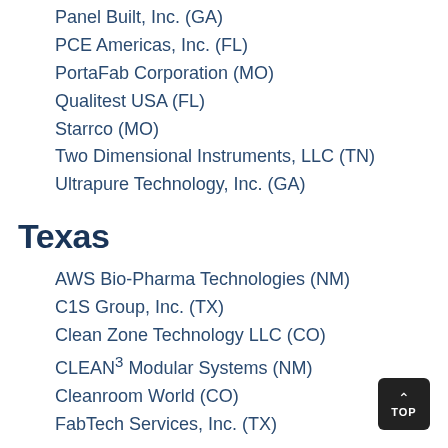Panel Built, Inc. (GA)
PCE Americas, Inc. (FL)
PortaFab Corporation (MO)
Qualitest USA (FL)
Starrco (MO)
Two Dimensional Instruments, LLC (TN)
Ultrapure Technology, Inc. (GA)
Texas
AWS Bio-Pharma Technologies (NM)
C1S Group, Inc. (TX)
Clean Zone Technology LLC (CO)
CLEAN³ Modular Systems (NM)
Cleanroom World (CO)
FabTech Services, Inc. (TX)